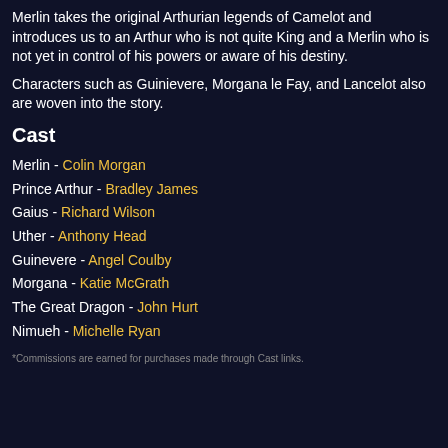Merlin takes the original Arthurian legends of Camelot and introduces us to an Arthur who is not quite King and a Merlin who is not yet in control of his powers or aware of his destiny.
Characters such as Guinievere, Morgana le Fay, and Lancelot also are woven into the story.
Cast
Merlin - Colin Morgan
Prince Arthur - Bradley James
Gaius - Richard Wilson
Uther - Anthony Head
Guinevere - Angel Coulby
Morgana - Katie McGrath
The Great Dragon - John Hurt
Nimueh - Michelle Ryan
*Commissions are earned for purchases made through Cast links.